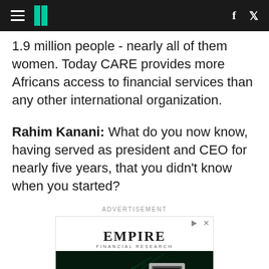HuffPost navigation header with hamburger menu, logo (II), Facebook and Twitter icons
1.9 million people - nearly all of them women. Today CARE provides more Africans access to financial services than any other international organization.
Rahim Kanani: What do you now know, having served as president and CEO for nearly five years, that you didn't know when you started?
ADVERTISEMENT
[Figure (other): Empire Financial Research advertisement banner with logo text and electric vehicle charging image]